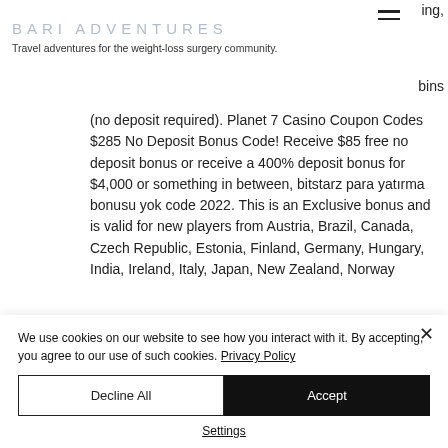[Figure (logo): Bari Adventures logo text in light blue-grey uppercase letters]
Travel adventures for the weight-loss surgery community.
ing,
bins
(no deposit required). Planet 7 Casino Coupon Codes $285 No Deposit Bonus Code! Receive $85 free no deposit bonus or receive a 400% deposit bonus for $4,000 or something in between, bitstarz para yatırma bonusu yok code 2022. This is an Exclusive bonus and is valid for new players from Austria, Brazil, Canada, Czech Republic, Estonia, Finland, Germany, Hungary, India, Ireland, Italy, Japan, New Zealand, Norway
We use cookies on our website to see how you interact with it. By accepting, you agree to our use of such cookies. Privacy Policy
Decline All
Accept
Settings